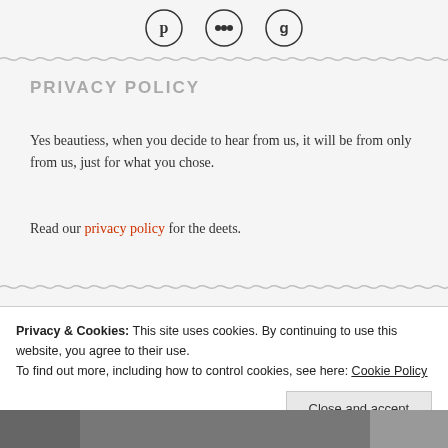[Figure (illustration): Three heart-shaped social media icon badges (Pinterest, Instagram, Google+) shown at top of page]
PRIVACY POLICY
Yes beautiess, when you decide to hear from us, it will be from only from us, just for what you chose.
Read our privacy policy for the deets.
Privacy & Cookies: This site uses cookies. By continuing to use this website, you agree to their use.
To find out more, including how to control cookies, see here: Cookie Policy
[Figure (photo): Partial photo of a person visible at bottom of page]